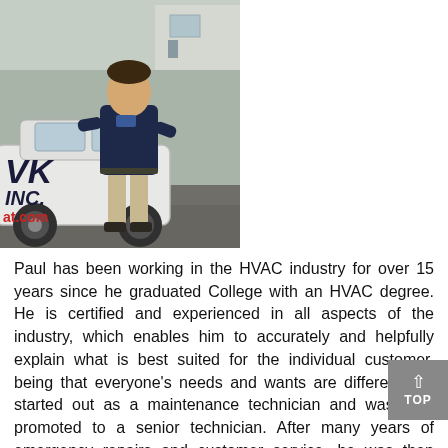[Figure (photo): A man in a dark navy uniform shirt and khaki pants stands next to a white company vehicle branded with 'VK INC.' and a website URL ending in '.at.com'. He is posing with one hand on the vehicle. Background shows a building and parking lot.]
Paul has been working in the HVAC industry for over 15 years since he graduated College with an HVAC degree. He is certified and experienced in all aspects of the industry, which enables him to accurately and helpfully explain what is best suited for the individual customer, being that everyone's needs and wants are different. He started out as a maintenance technician and was later promoted to a senior technician. After many years of emergency repairs and customer service, he was then promoted to sales and management. Paul takes a lot of pride in